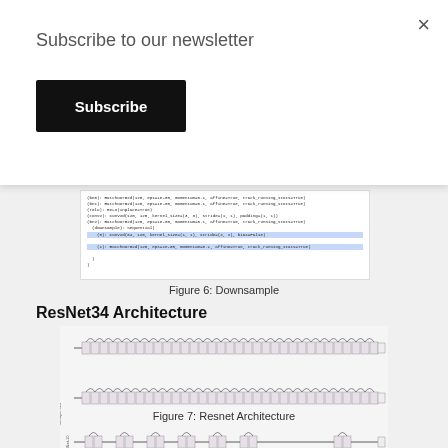Subscribe to our newsletter
Subscribe
[Figure (screenshot): Code screenshot showing Downsample module with BatchNorm, Conv2d layers in a Sequential block, with two lines highlighted in blue]
Figure 6: Downsample
ResNet34 Architecture
[Figure (engineering-diagram): ResNet34 architecture diagram showing three rows of residual blocks with skip connections, labeled with layer dimensions]
Figure 7: Resnet Architecture